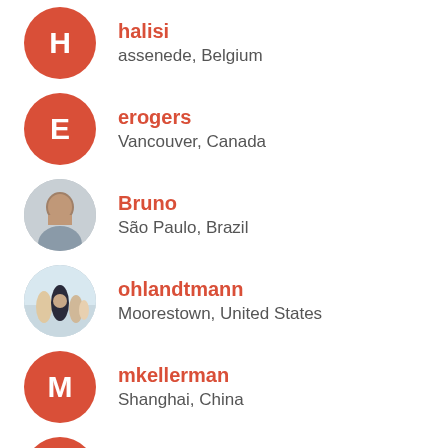halisi
assenede, Belgium
erogers
Vancouver, Canada
Bruno
São Paulo, Brazil
ohlandtmann
Moorestown, United States
mkellerman
Shanghai, China
Tui1974
nuenen, Netherlands